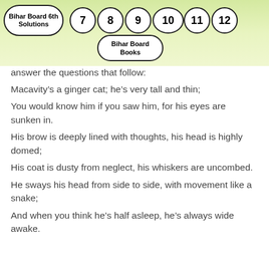Bihar Board 6th Solutions | 7 | 8 | 9 | 10 | 11 | 12 | Bihar Board Books
answer the questions that follow:
Macavity’s a ginger cat; he’s very tall and thin;
You would know him if you saw him, for his eyes are sunken in.
His brow is deeply lined with thoughts, his head is highly domed;
His coat is dusty from neglect, his whiskers are uncombed.
He sways his head from side to side, with movement like a snake;
And when you think he’s half asleep, he’s always wide awake.